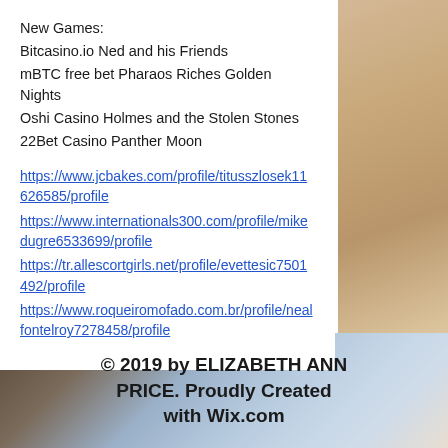New Games:
Bitcasino.io Ned and his Friends
mBTC free bet Pharaos Riches Golden Nights
Oshi Casino Holmes and the Stolen Stones
22Bet Casino Panther Moon
https://www.jcbakes.com/profile/titusszlosek11626585/profile
https://www.internationals300.com/profile/mikedugre6533699/profile
https://tr.allescortgirls.net/profile/evettesic7501492/profile
https://www.roqueiromofado.com.br/profile/nealfontelroy7278458/profile
© 2019 by ELIZABETH ANN PRICE. Proudly Created with Wix.com